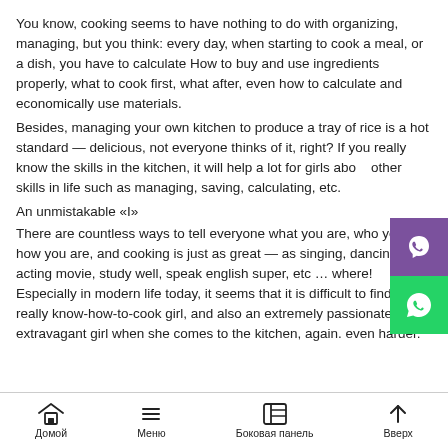You know, cooking seems to have nothing to do with organizing, managing, but you think: every day, when starting to cook a meal, or a dish, you have to calculate How to buy and use ingredients properly, what to cook first, what after, even how to calculate and economically use materials.
Besides, managing your own kitchen to produce a tray of rice is a hot standard — delicious, not everyone thinks of it, right? If you really know the skills in the kitchen, it will help a lot for girls about other skills in life such as managing, saving, calculating, etc.
An unmistakable «I»
There are countless ways to tell everyone what you are, who you are, how you are, and cooking is just as great — as singing, dancing, acting movie, study well, speak english super, etc … where! Especially in modern life today, it seems that it is difficult to find a really know-how-to-cook girl, and also an extremely passionate and extravagant girl when she comes to the kitchen, again. even harder.
Домой   Меню   Боковая панель   Вверх